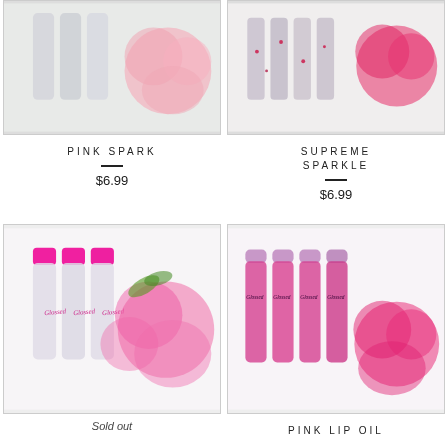[Figure (photo): Product photo: three clear lip gloss roller bottles with glittery appearance and pink flowers in background]
PINK SPARK
$6.99
[Figure (photo): Product photo: four glitter-filled tube vials with red/pink sparkles and pink dahlia flowers]
SUPREME SPARKLE
$6.99
[Figure (photo): Product photo: three clear lip gloss roller bottles with bright pink caps labeled Glossed, with pink peony flowers]
Sold out
[Figure (photo): Product photo: four pink frosted lip oil roller bottles labeled Glossed with a pink flower]
PINK LIP OIL